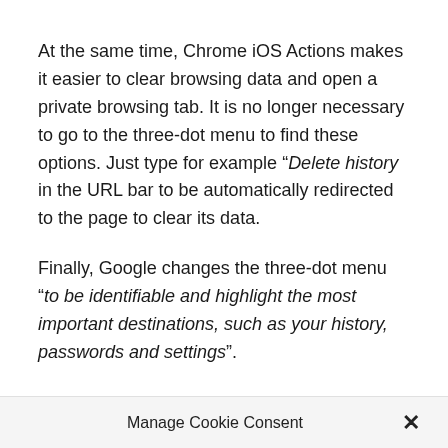At the same time, Chrome iOS Actions makes it easier to clear browsing data and open a private browsing tab. It is no longer necessary to go to the three-dot menu to find these options. Just type for example “Delete history in the URL bar to be automatically redirected to the page to clear its data.
Finally, Google changes the three-dot menu “to be identifiable and highlight the most important destinations, such as your history, passwords and settings”.
Manage Cookie Consent